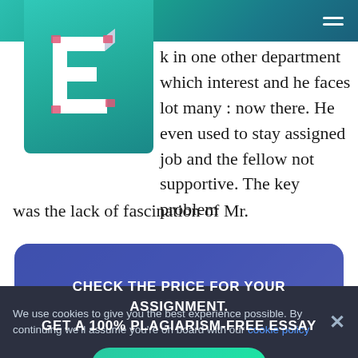[Figure (logo): Blue-green square logo with a 3D letter E in white and pink/red accents]
k in one other department which interest and he faces lot many : now there. He even used to stay assigned job and the fellow not supportive. The key problem was the lack of fascination of Mr.
[Figure (infographic): Promotional banner with text: CHECK THE PRICE FOR YOUR ASSIGNMENT. GET A 100% PLAGIARISM-FREE ESSAY and a GET ESSAY button]
We use cookies to give you the best experience possible. By continuing we'll assume you're on board with our cookie policy